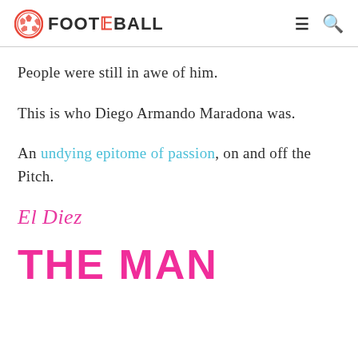FOOT THE BALL
People were still in awe of him.
This is who Diego Armando Maradona was.
An undying epitome of passion, on and off the Pitch.
El Diez
THE MAN